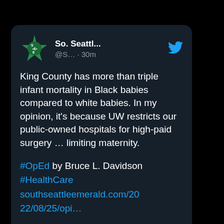[Figure (screenshot): A tweet screenshot on a dark background. Account: 'So. Seattl...' handle '@S...' posted 30m ago. Tweet text: 'King County has more than triple infant mortality in Black babies compared to white babies. In my opinion, it's because UW restricts our public-owned hospitals for high-paid surgery … limiting maternity.' Followed by '#OpEd by Bruce L. Davidson #HealthCare southseattleemerald.com/2022/08/25/opi...' with a photo preview at the bottom.]